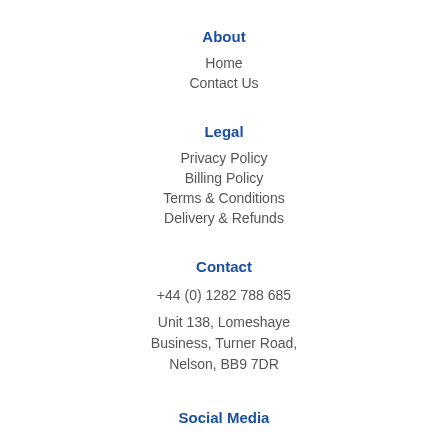About
Home
Contact Us
Legal
Privacy Policy
Billing Policy
Terms & Conditions
Delivery & Refunds
Contact
+44 (0) 1282 788 685
Unit 138, Lomeshaye Business, Turner Road, Nelson, BB9 7DR
Social Media